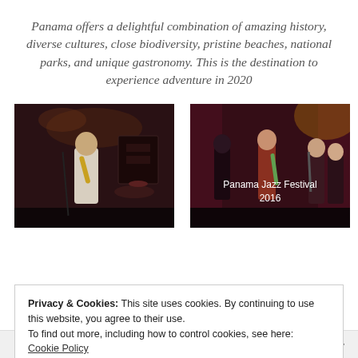Panama offers a delightful combination of amazing history, diverse cultures, close biodiversity, pristine beaches, national parks, and unique gastronomy. This is the destination to experience adventure in 2020
[Figure (photo): Jazz musician playing saxophone on stage in dark venue with band in background]
[Figure (photo): Band performing on stage at Panama Jazz Festival 2016, musicians with guitars in dark venue with curtains]
Privacy & Cookies: This site uses cookies. By continuing to use this website, you agree to their use.
To find out more, including how to control cookies, see here:
Cookie Policy
FOLLOW ...